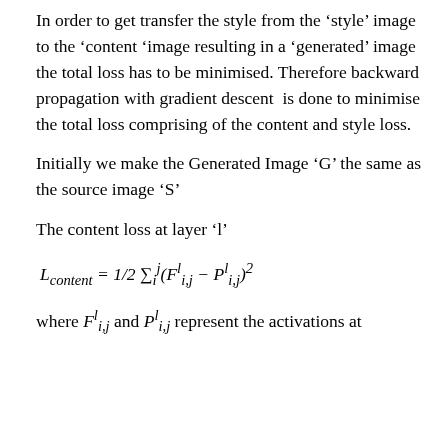In order to get transfer the style from the 'style' image to the 'content 'image resulting in a 'generated' image  the total loss has to be minimised. Therefore backward propagation with gradient descent  is done to minimise the total loss comprising of the content and style loss.
Initially we make the Generated Image 'G' the same as the source image 'S'
The content loss at layer 'l'
where F^l_{i,j} and P^l_{i,j} represent the activations at